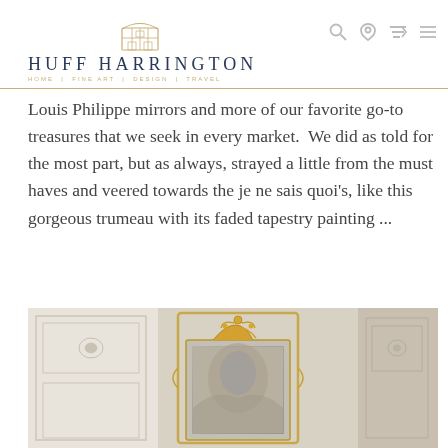HUFF HARRINGTON | HOME | FINE ART | DESIGN | TRAVEL
Louis Philippe mirrors and more of our favorite go-to treasures that we seek in every market.  We did as told for the most part, but as always, strayed a little from the must haves and veered towards the je ne sais quoi's, like this gorgeous trumeau with its faded tapestry painting ...
[Figure (photo): Photo of an ornate French trumeau mirror with gilded decorative frame and faded tapestry painting, set against a white distressed background with paneled details]